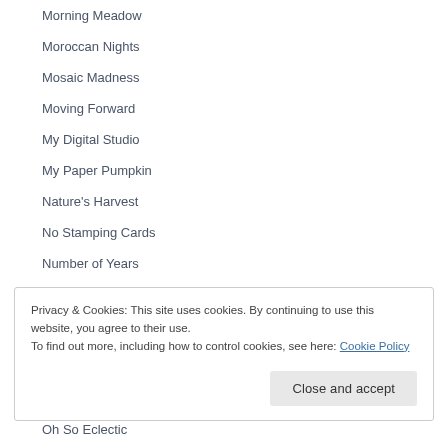Morning Meadow
Moroccan Nights
Mosaic Madness
Moving Forward
My Digital Studio
My Paper Pumpkin
Nature's Harvest
No Stamping Cards
Number of Years
Privacy & Cookies: This site uses cookies. By continuing to use this website, you agree to their use. To find out more, including how to control cookies, see here: Cookie Policy
Oh So Eclectic